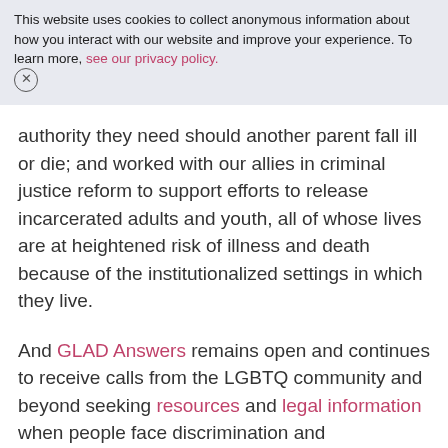This website uses cookies to collect anonymous information about how you interact with our website and improve your experience. To learn more, see our privacy policy.
authority they need should another parent fall ill or die; and worked with our allies in criminal justice reform to support efforts to release incarcerated adults and youth, all of whose lives are at heightened risk of illness and death because of the institutionalized settings in which they live.
And GLAD Answers remains open and continues to receive calls from the LGBTQ community and beyond seeking resources and legal information when people face discrimination and mistreatment, which unfortunately persist even in the midst of a global pandemic.
But in this moment, we also need to look to the future